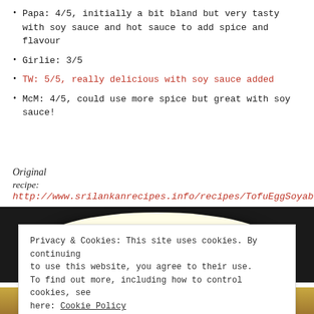Papa: 4/5, initially a bit bland but very tasty with soy sauce and hot sauce to add spice and flavour
Girlie: 3/5
TW: 5/5, really delicious with soy sauce added
McM: 4/5, could use more spice but great with soy sauce!
Original
recipe: http://www.srilankanrecipes.info/recipes/TofuEggSoyaB
[Figure (photo): Photo of a yellow plate with food, dark background]
Privacy & Cookies: This site uses cookies. By continuing to use this website, you agree to their use.
To find out more, including how to control cookies, see here: Cookie Policy
[Figure (photo): Bottom strip of a food photo]